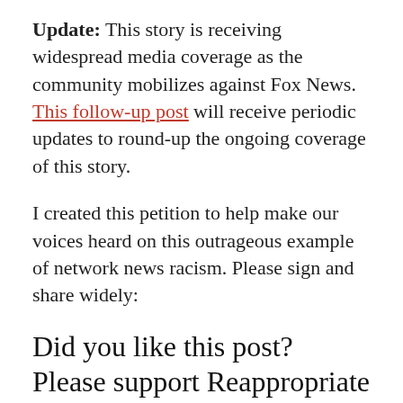Update: This story is receiving widespread media coverage as the community mobilizes against Fox News. This follow-up post will receive periodic updates to round-up the ongoing coverage of this story.
I created this petition to help make our voices heard on this outrageous example of network news racism. Please sign and share widely:
Did you like this post? Please support Reappropriate on Patreon!
[Figure (other): Patreon button: orange/red rounded rectangle with Patreon logo (P with circle) and text BECOME A PATRON in white bold uppercase letters]